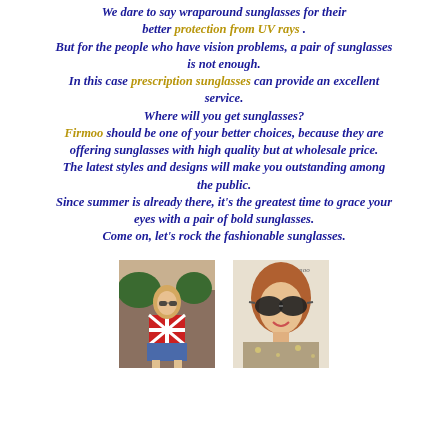We dare to say wraparound sunglasses for their better protection from UV rays . But for the people who have vision problems, a pair of sunglasses is not enough. In this case prescription sunglasses can provide an excellent service. Where will you get sunglasses? Firmoo should be one of your better choices, because they are offering sunglasses with high quality but at wholesale price. The latest styles and designs will make you outstanding among the public. Since summer is already there, it's the greatest time to grace your eyes with a pair of bold sunglasses. Come on, let's rock the fashionable sunglasses.
[Figure (photo): Woman in Union Jack outfit with sunglasses outdoors]
[Figure (photo): Woman wearing large dark sunglasses, smiling]